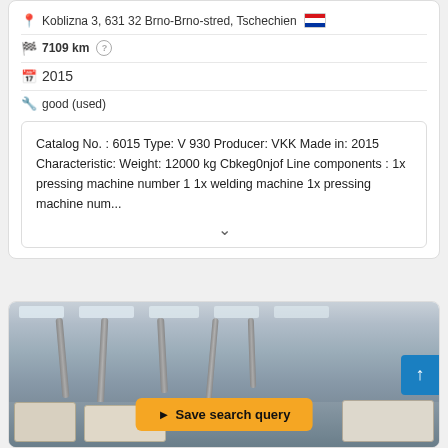Koblizna 3, 631 32 Brno-Brno-stred, Tschechien
7109 km
2015
good (used)
Catalog No. : 6015 Type: V 930 Producer: VKK Made in: 2015 Characteristic: Weight: 12000 kg Cbkeg0njof Line components : 1x pressing machine number 1 1x welding machine 1x pressing machine num...
[Figure (photo): Factory interior showing industrial machinery with tubes/hoses hanging from ceiling, with a 'Save search query' button overlay and an up arrow button]
Save search query